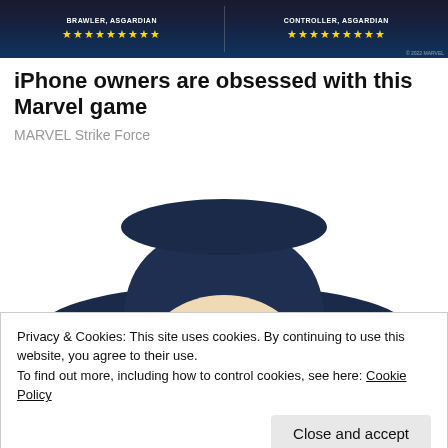[Figure (screenshot): Marvel Strike Force game advertisement banner showing two Asgardian heroes with star ratings. Left side: Brawler, Asgardian with 9 gold stars. Right side: Controller, Asgardian with 9 gold stars. Dark space-themed background.]
iPhone owners are obsessed with this Marvel game
MARVEL Strike Force
[Figure (illustration): Illustrated character of an old man with white hair wearing a large dark navy cowboy hat, peeking with eyes looking upward. Appears to be from a game or advertisement.]
Privacy & Cookies: This site uses cookies. By continuing to use this website, you agree to their use.
To find out more, including how to control cookies, see here: Cookie Policy